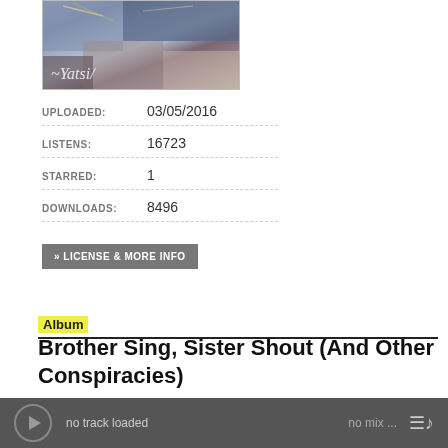[Figure (photo): Album artwork - abstract/distressed image with handwritten text 'Yatsi' at bottom left]
UPLOADED: 03/05/2016
LISTENS: 16723
STARRED: 1
DOWNLOADS: 8496
» LICENSE & MORE INFO
Album
Brother Sing, Sister Shout (And Other Conspiracies)
01. the silence industry - Brother Sing, Sister S...
no track loaded    no mix ...